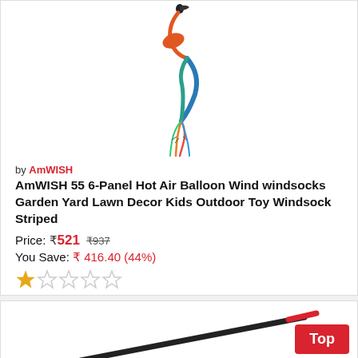[Figure (photo): Colorful bird-shaped windsock product image on white background]
by AmWISH
AmWISH 55 6-Panel Hot Air Balloon Wind windsocks Garden Yard Lawn Decor Kids Outdoor Toy Windsock Striped
Price: ₹521  ₹937
You Save: ₹ 416.40 (44%)
[Figure (other): Star rating: 1 out of 5 stars]
[Figure (photo): Partial product image of second listing showing a stick/rod item]